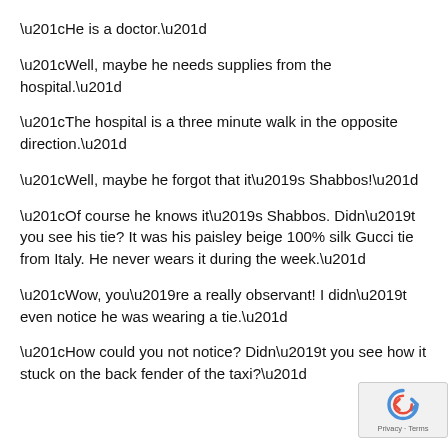“He is a doctor.”
“Well, maybe he needs supplies from the hospital.”
“The hospital is a three minute walk in the opposite direction.”
“Well, maybe he forgot that it’s Shabbos!”
“Of course he knows it’s Shabbos. Didn’t you see his tie? It was his paisley beige 100% silk Gucci tie from Italy. He never wears it during the week.”
“Wow, you’re a really observant! I didn’t even notice he was wearing a tie.”
“How could you not notice? Didn’t you see how it stuck on the back fender of the taxi?”
[Figure (logo): reCAPTCHA badge with recycling-style arrow icon and Privacy · Terms text]